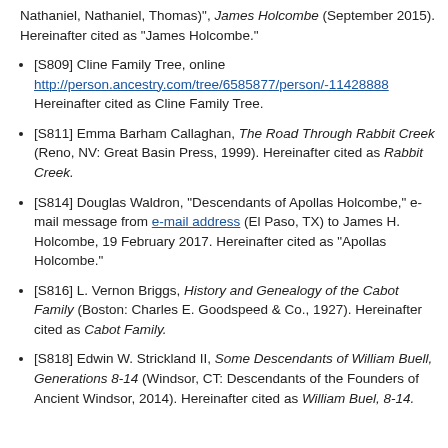Nathaniel, Nathaniel, Thomas)", James Holcombe (September 2015). Hereinafter cited as "James Holcombe."
[S809] Cline Family Tree, online http://person.ancestry.com/tree/6585877/person/-1142888... Hereinafter cited as Cline Family Tree.
[S811] Emma Barham Callaghan, The Road Through Rabbit Creek (Reno, NV: Great Basin Press, 1999). Hereinafter cited as Rabbit Creek.
[S814] Douglas Waldron, "Descendants of Apollas Holcombe," e-mail message from e-mail address (El Paso, TX) to James H. Holcombe, 19 February 2017. Hereinafter cited as "Apollas Holcombe."
[S816] L. Vernon Briggs, History and Genealogy of the Cabot Family (Boston: Charles E. Goodspeed & Co., 1927). Hereinafter cited as Cabot Family.
[S818] Edwin W. Strickland II, Some Descendants of William Buell, Generations 8-14 (Windsor, CT: Descendants of the Founders of Ancient Windsor, 2014). Hereinafter cited as William Buel, 8-14.